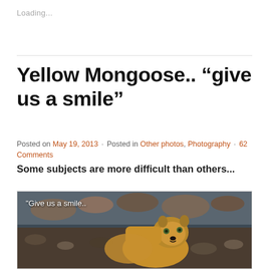Loading...
Yellow Mongoose.. “give us a smile”
Posted on May 19, 2013 · Posted in Other photos, Photography · 62 Comments
Some subjects are more difficult than others...
[Figure (photo): A yellow mongoose looking toward the camera with rocks in the background. White text overlay reads: "Give us a smile.."]